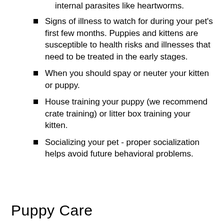internal parasites like heartworms.
Signs of illness to watch for during your pet's first few months. Puppies and kittens are susceptible to health risks and illnesses that need to be treated in the early stages.
When you should spay or neuter your kitten or puppy.
House training your puppy (we recommend crate training) or litter box training your kitten.
Socializing your pet - proper socialization helps avoid future behavioral problems.
Puppy Care